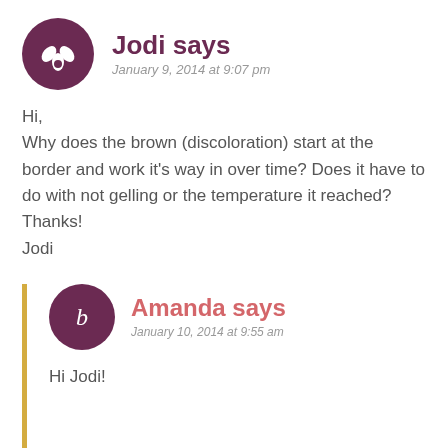[Figure (illustration): Dark purple circular avatar icon with a white plant/leaf design (three petals/leaves)]
Jodi says
January 9, 2014 at 9:07 pm
Hi,
Why does the brown (discoloration) start at the border and work it's way in over time? Does it have to do with not gelling or the temperature it reached?
Thanks!
Jodi
[Figure (illustration): Dark purple circular avatar icon with a white letter 'b' on it]
Amanda says
January 10, 2014 at 9:55 am
Hi Jodi!